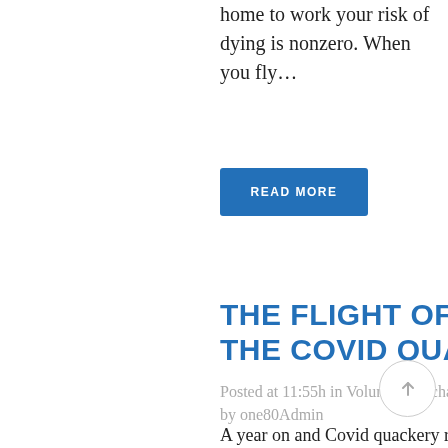home to work your risk of dying is nonzero. When you fly…
READ MORE
THE FLIGHT OF THE COVID QUACKS
Posted at 11:55h in Voluntary Exchange Sources by one80Admin
A year on and Covid quackery remains a potent force in global public health discourse. We should